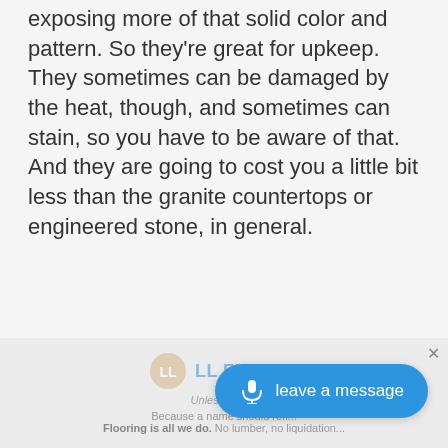exposing more of that solid color and pattern. So they're great for upkeep. They sometimes can be damaged by the heat, though, and sometimes can stain, so you have to be aware of that. And they are going to cost you a little bit less than the granite countertops or engineered stone, in general.
[Figure (screenshot): An advertisement banner for LL Flooring with logo, taglines, and a 'leave a message' voice button overlay]